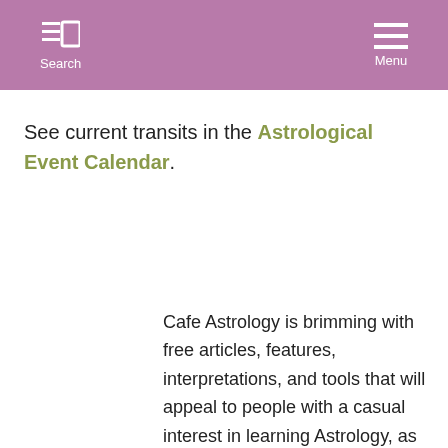Search  Menu
See current transits in the Astrological Event Calendar.
Cafe Astrology is brimming with free articles, features, interpretations, and tools that will appeal to people with a casual interest in learning Astrology, as well as beginning through